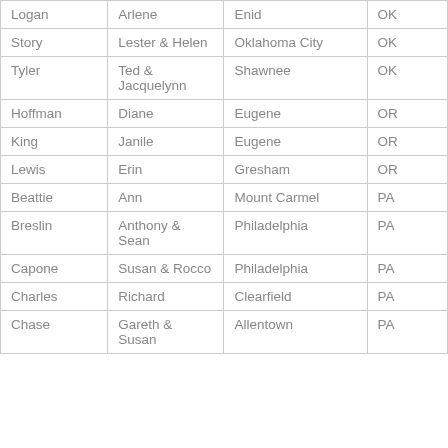| Logan | Arlene | Enid | OK |
| Story | Lester & Helen | Oklahoma City | OK |
| Tyler | Ted & Jacquelynn | Shawnee | OK |
| Hoffman | Diane | Eugene | OR |
| King | Janile | Eugene | OR |
| Lewis | Erin | Gresham | OR |
| Beattie | Ann | Mount Carmel | PA |
| Breslin | Anthony & Sean | Philadelphia | PA |
| Capone | Susan & Rocco | Philadelphia | PA |
| Charles | Richard | Clearfield | PA |
| Chase | Gareth & Susan | Allentown | PA |